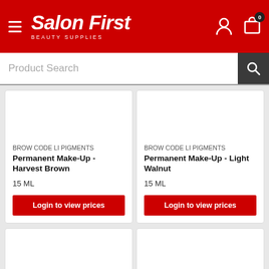Salon First Beauty Supplies
Product Search
BROW CODE LI PIGMENTS
Permanent Make-Up - Harvest Brown
15 ML
Login to view prices
BROW CODE LI PIGMENTS
Permanent Make-Up - Light Walnut
15 ML
Login to view prices